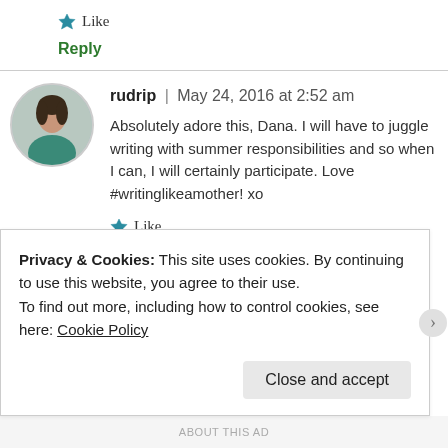Like
Reply
rudrip | May 24, 2016 at 2:52 am
Absolutely adore this, Dana. I will have to juggle writing with summer responsibilities and so when I can, I will certainly participate. Love #writinglikeamother! xo
Like
Privacy & Cookies: This site uses cookies. By continuing to use this website, you agree to their use.
To find out more, including how to control cookies, see here: Cookie Policy
Close and accept